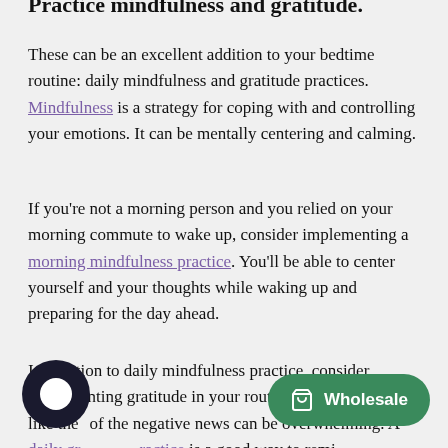Practice mindfulness and gratitude.
These can be an excellent addition to your bedtime routine: daily mindfulness and gratitude practices. Mindfulness is a strategy for coping with and controlling your emotions. It can be mentally centering and calming.
If you're not a morning person and you relied on your morning commute to wake up, consider implementing a morning mindfulness practice. You'll be able to center yourself and your thoughts while waking up and preparing for the day ahead.
In addition to daily mindfulness practice, consider implementing gratitude in your routine. In crazy times like these, of the negative news can be overwhelming. A daily gratitude practice is a good way to remind yourself of the positive things in life.